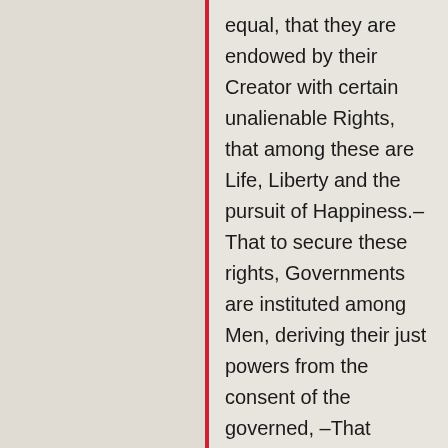equal, that they are endowed by their Creator with certain unalienable Rights, that among these are Life, Liberty and the pursuit of Happiness.–That to secure these rights, Governments are instituted among Men, deriving their just powers from the consent of the governed, –That whenever any Form of Government becomes destructive of these ends, it is the Right of the People to alter or to abolish it, and to institute new Government, laying its foundation on such principles